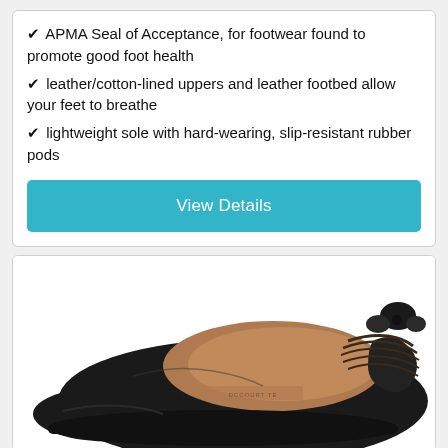✔ APMA Seal of Acceptance, for footwear found to promote good foot health
✔ leather/cotton-lined uppers and leather footbed allow your feet to breathe
✔ lightweight sole with hard-wearing, slip-resistant rubber pods
View Details
[Figure (photo): Black leather ballet flat shoe with a ruched bow detail at the heel and a tan leather interior footbed, shown at an angle.]